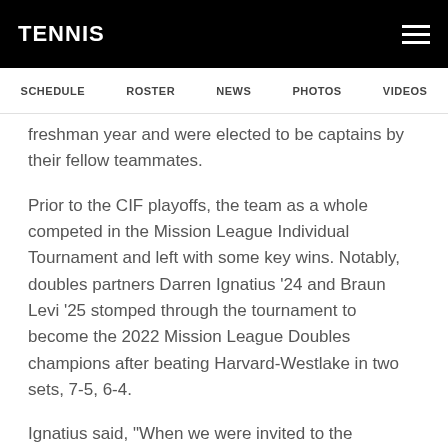TENNIS
SCHEDULE  ROSTER  NEWS  PHOTOS  VIDEOS
freshman year and were elected to be captains by their fellow teammates.
Prior to the CIF playoffs, the team as a whole competed in the Mission League Individual Tournament and left with some key wins. Notably, doubles partners Darren Ignatius '24 and Braun Levi '25 stomped through the tournament to become the 2022 Mission League Doubles champions after beating Harvard-Westlake in two sets, 7-5, 6-4.
Ignatius said, “When we were invited to the tournament, we knew we were going to play